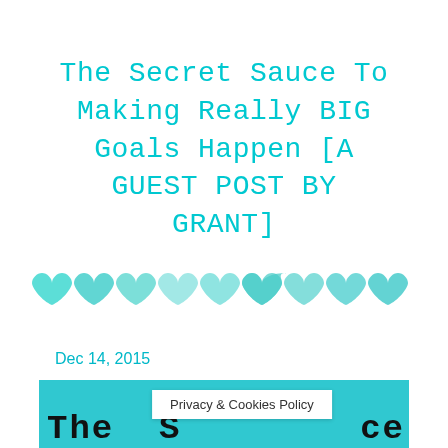The Secret Sauce To Making Really BIG Goals Happen [A GUEST POST BY GRANT]
[Figure (illustration): A row of nine watercolor-style teal/turquoise heart shapes arranged horizontally]
Dec 14, 2015
[Figure (illustration): Bottom portion of a teal/turquoise watercolor banner image with partial text 'THE S...CE' visible in dark lettering, partially overlaid by a white Privacy & Cookies Policy popup box]